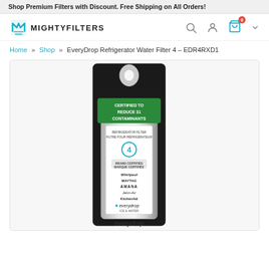Shop Premium Filters with Discount. Free Shipping on All Orders!
[Figure (logo): MightyFilters logo with stylized M icon and bold uppercase text MIGHTYFILTERS]
Home » Shop » EveryDrop Refrigerator Water Filter 4 – EDR4RXD1
[Figure (photo): EveryDrop Refrigerator Water Filter 4 EDR4RXD1 in retail packaging. Filter is silver/chrome colored cylinder in black blister pack. Green label at top reads CERTIFIED TO REDUCE 31 CONTAMINANTS. Filter label shows number 4, brand certified, Whirlpool, Maytag, Amana, Jenn-Air, KitchenAid, everydrop ICE & WATER logos. EveryDrop logo shown at bottom of image.]